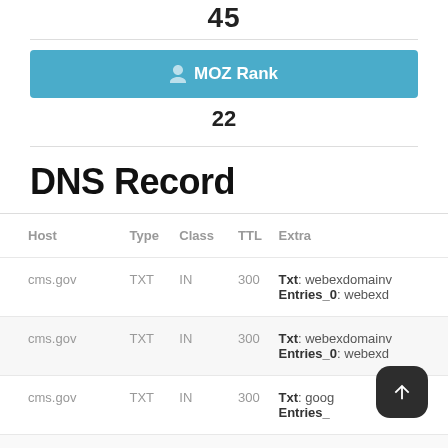45
MOZ Rank
22
DNS Record
| Host | Type | Class | TTL | Extra |
| --- | --- | --- | --- | --- |
| cms.gov | TXT | IN | 300 | Txt: webexdomainv... Entries_0: webexd... |
| cms.gov | TXT | IN | 300 | Txt: webexdomainv... Entries_0: webexd... |
| cms.gov | TXT | IN | 300 | Txt: goog...eri... Entries_...: ...e-... |
| cms.gov | TXT | IN | 300 | Txt: ... |